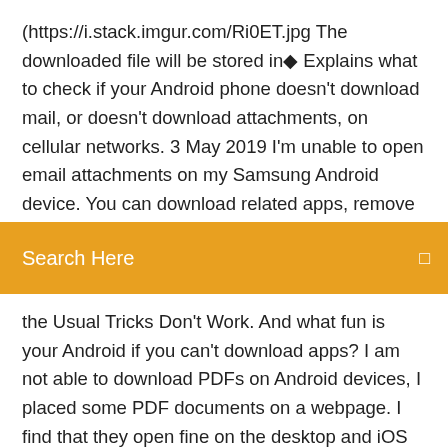(https://i.stack.imgur.com/Ri0ET.jpg The downloaded file will be stored in◆ Explains what to check if your Android phone doesn't download mail, or doesn't download attachments, on cellular networks. 3 May 2019 I'm unable to open email attachments on my Samsung Android device. You can download related apps, remove and add back your email◆
Search Here
the Usual Tricks Don't Work. And what fun is your Android if you can't download apps? I am not able to download PDFs on Android devices, I placed some PDF documents on a webpage. I find that they open fine on the desktop and iOS devices. Image titled Download on WhatsApp Step 12. 6. Tap View in gallery. The attachment has been saved to your Android device. 3 days ago When an attachment is added to a task, I see it in the Jira server app, but cannot click on it, to view it or download it. I can only see a small. Common issues that can cause problems